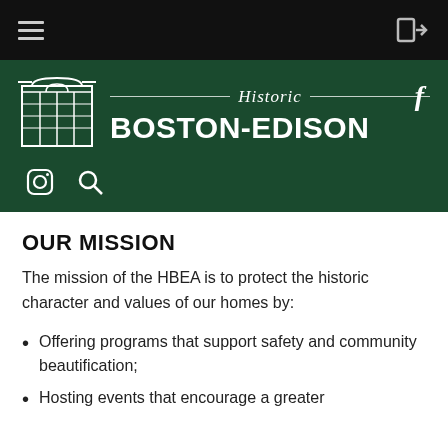[Figure (screenshot): Black top navigation bar with hamburger menu icon on left and login/arrow icon on right]
[Figure (logo): Historic Boston-Edison Association logo on dark green background with white building/arch icon, text 'Historic BOSTON-EDISON', Facebook icon, Instagram icon, and search icon]
OUR MISSION
The mission of the HBEA is to protect the historic character and values of our homes by:
Offering programs that support safety and community beautification;
Hosting events that encourage a greater